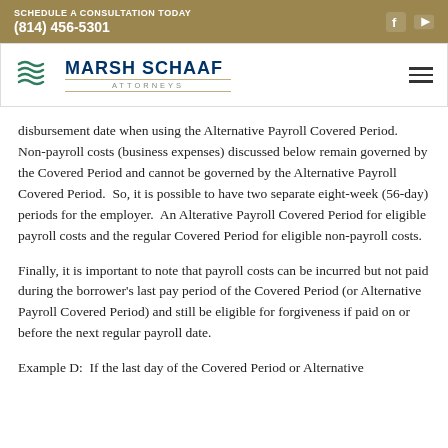SCHEDULE A CONSULTATION TODAY
(814) 456-5301
[Figure (logo): Marsh Schaaf Attorneys logo with stylized wave/flag icon in dark green and navy text]
disbursement date when using the Alternative Payroll Covered Period. Non-payroll costs (business expenses) discussed below remain governed by the Covered Period and cannot be governed by the Alternative Payroll Covered Period. So, it is possible to have two separate eight-week (56-day) periods for the employer. An Alterative Payroll Covered Period for eligible payroll costs and the regular Covered Period for eligible non-payroll costs.
Finally, it is important to note that payroll costs can be incurred but not paid during the borrower's last pay period of the Covered Period (or Alternative Payroll Covered Period) and still be eligible for forgiveness if paid on or before the next regular payroll date.
Example D: If the last day of the Covered Period or Alternative